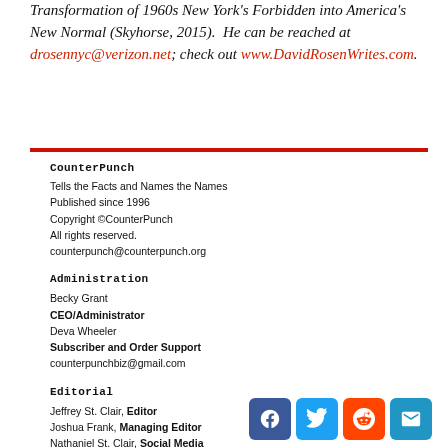Transformation of 1960s New York's Forbidden into America's New Normal (Skyhorse, 2015). He can be reached at drosennyc@verizon.net; check out www.DavidRosenWrites.com.
CounterPunch
Tells the Facts and Names the Names
Published since 1996
Copyright © CounterPunch
All rights reserved.
counterpunch@counterpunch.org
Administration
Becky Grant
CEO/Administrator
Deva Wheeler
Subscriber and Order Support
counterpunchbiz@gmail.com
Editorial
Jeffrey St. Clair, Editor
Joshua Frank, Managing Editor
Nathaniel St. Clair, Social Media
Alexander Cockburn, 1941—2012